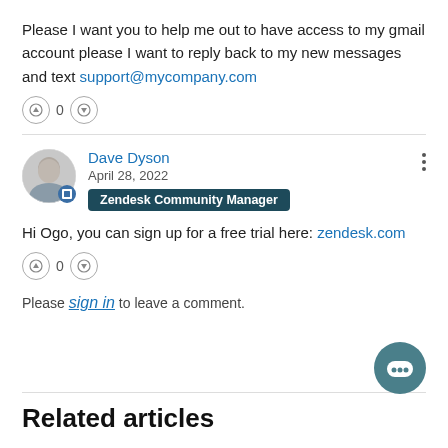Please I want you to help me out to have access to my gmail account please I want to reply back to my new messages and text support@mycompany.com
[Figure (infographic): Upvote button, count 0, downvote button]
[Figure (infographic): Avatar of Dave Dyson with badge, name Dave Dyson in blue, date April 28 2022, Zendesk Community Manager badge pill, three-dot menu]
Hi Ogo, you can sign up for a free trial here: zendesk.com
[Figure (infographic): Upvote button, count 0, downvote button]
Please sign in to leave a comment.
[Figure (infographic): Teal chat bubble button in bottom right]
Related articles